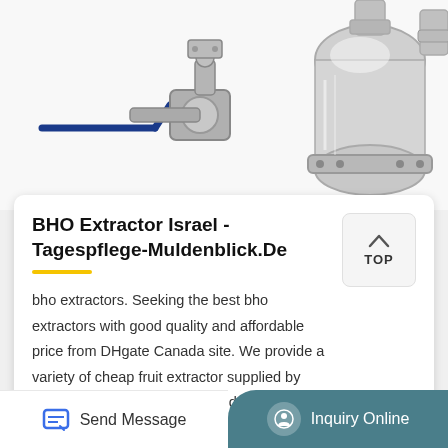[Figure (photo): Photo of a stainless steel BHO extractor device with valves, fittings, and a blue handle valve on the left side]
BHO Extractor Israel - Tagespflege-Muldenblick.De
bho extractors. Seeking the best bho extractors with good quality and affordable price from DHgate Canada site. We provide a variety of cheap fruit extractor supplied by reliable sellers around the world. It"s our pleasure to provide an online platform and connect you and bho dab extractor that...
Send Message | Inquiry Online